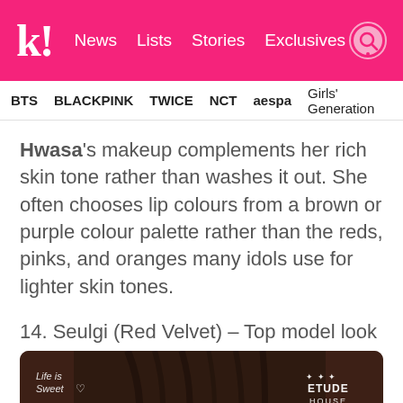K! News Lists Stories Exclusives
BTS BLACKPINK TWICE NCT aespa Girls' Generation
Hwasa's makeup complements her rich skin tone rather than washes it out. She often chooses lip colours from a brown or purple colour palette rather than the reds, pinks, and oranges many idols use for lighter skin tones.
14. Seulgi (Red Velvet) – Top model look
[Figure (photo): Close-up photo of Seulgi (Red Velvet) with dark hair, from an Etude House advertisement. Watermarks: 'Life is Sweet' on the left, 'ETUDE HOUSE' logo on the right.]